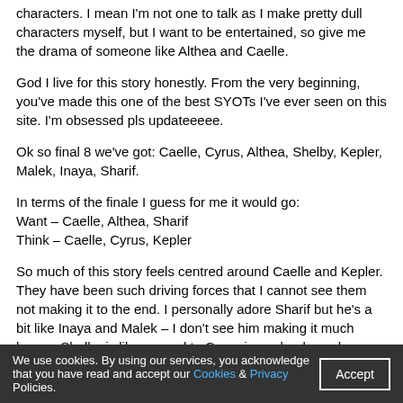characters. I mean I'm not one to talk as I make pretty dull characters myself, but I want to be entertained, so give me the drama of someone like Althea and Caelle.
God I live for this story honestly. From the very beginning, you've made this one of the best SYOTs I've ever seen on this site. I'm obsessed pls updateeeee.
Ok so final 8 we've got: Caelle, Cyrus, Althea, Shelby, Kepler, Malek, Inaya, Sharif.
In terms of the finale I guess for me it would go:
Want – Caelle, Althea, Sharif
Think – Caelle, Cyrus, Kepler
So much of this story feels centred around Caelle and Kepler. They have been such driving forces that I cannot see them not making it to the end. I personally adore Sharif but he's a bit like Inaya and Malek – I don't see him making it much longer. Shelby is like second to Cyrus in my books so he seems endgame, but she doesn't. Honestly tho I might be entirely wrong and I'm sure whatever decision you make, it will end up being the best one for this story because UGH YOU WRITE SO GOOD STOP
Remus98 | Aug 9, 2020 c20 | 3
Andros: you've done it again. Like with so many other tributes, Loren especially, you've made me love a character i didn't care all that much about from the beginning, but now i can't imagine this story without...
We use cookies. By using our services, you acknowledge that you have read and accept our Cookies & Privacy Policies.